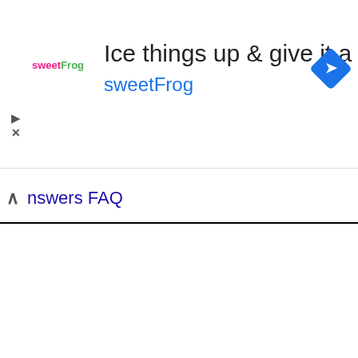[Figure (screenshot): sweetFrog advertisement banner with logo, headline 'Ice things up & give it a try', brand name 'sweetFrog', and a blue navigation/direction diamond icon on the right]
nswers FAQ